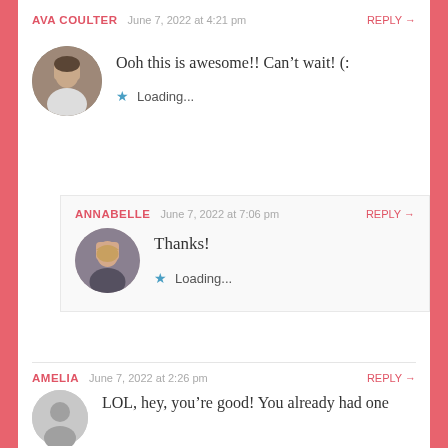AVA COULTER  June 7, 2022 at 4:21 pm  REPLY →
[Figure (photo): Circular avatar photo of Ava Coulter, a young woman standing outdoors near stone wall]
Ooh this is awesome!! Can't wait! (:
★ Loading...
ANNABELLE  June 7, 2022 at 7:06 pm  REPLY →
[Figure (photo): Circular avatar photo of Annabelle, a young woman with shoulder-length hair smiling]
Thanks!
★ Loading...
AMELIA  June 7, 2022 at 2:26 pm  REPLY →
[Figure (photo): Circular grey placeholder avatar for Amelia]
LOL, hey, you're good! You already had one